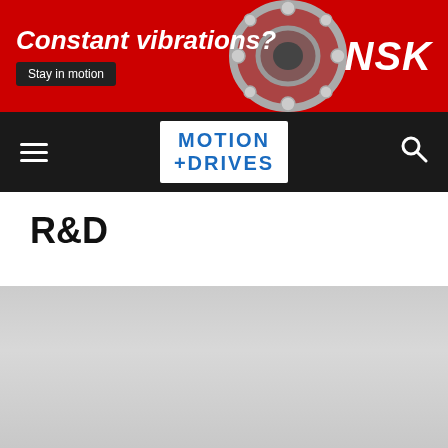[Figure (infographic): NSK advertisement banner with red background, text 'Constant vibrations? Stay in motion', bearing image, and NSK logo]
Motion + Drives navigation bar with hamburger menu, Motion+Drives logo, and search icon
R&D
[Figure (photo): Gray gradient content area placeholder image]